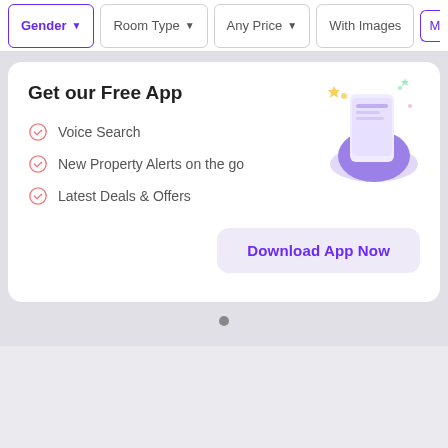Gender | Room Type | Any Price | With Images | Mo
Get our Free App
Voice Search
New Property Alerts on the go
Latest Deals & Offers
[Figure (illustration): Purple illustrated hand holding a glowing smartphone with sparkles]
Download App Now
[Figure (other): Bottom navigation bar with Sort, Saved, and Filter icons]